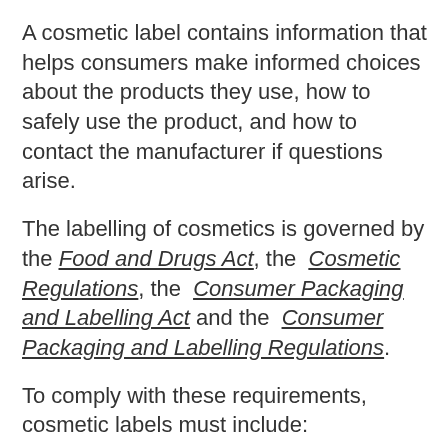A cosmetic label contains information that helps consumers make informed choices about the products they use, how to safely use the product, and how to contact the manufacturer if questions arise.
The labelling of cosmetics is governed by the Food and Drugs Act, the Cosmetic Regulations, the Consumer Packaging and Labelling Act and the Consumer Packaging and Labelling Regulations.
To comply with these requirements, cosmetic labels must include:
an ingredient list (using the International...